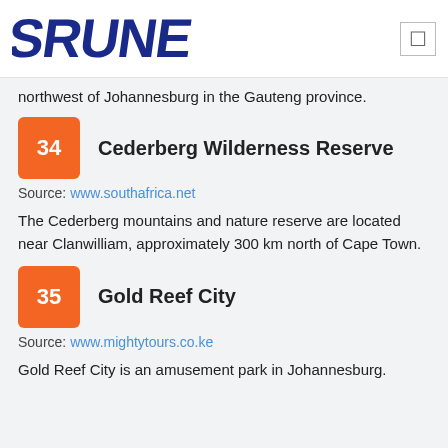SRUNE
northwest of Johannesburg in the Gauteng province.
34 Cederberg Wilderness Reserve
Source: www.southafrica.net
The Cederberg mountains and nature reserve are located near Clanwilliam, approximately 300 km north of Cape Town.
35 Gold Reef City
Source: www.mightytours.co.ke
Gold Reef City is an amusement park in Johannesburg.